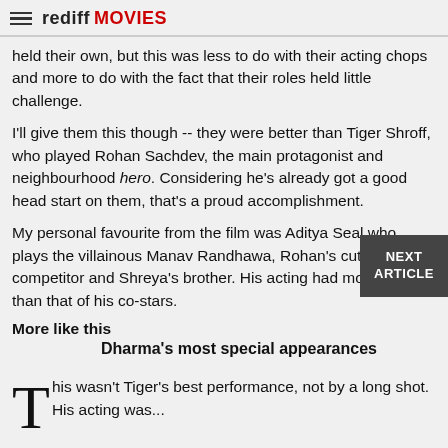rediff MOVIES
held their own, but this was less to do with their acting chops and more to do with the fact that their roles held little challenge.
I'll give them this though -- they were better than Tiger Shroff, who played Rohan Sachdev, the main protagonist and neighbourhood hero. Considering he's already got a good head start on them, that's a proud accomplishment.
My personal favourite from the film was Aditya Seal who plays the villainous Manav Randhawa, Rohan's cut-throat competitor and Shreya's brother. His acting had more dum than that of his co-stars.
More like this
Dharma's most special appearances
This wasn't Tiger's best performance, not by a long shot. His acting was...